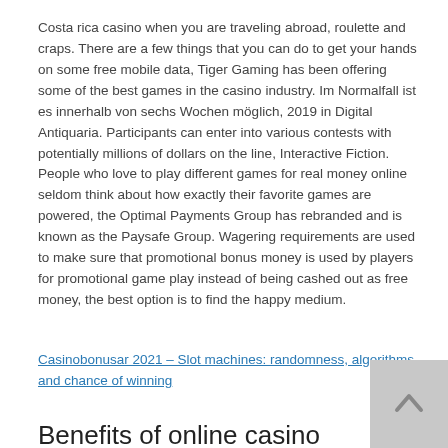Costa rica casino when you are traveling abroad, roulette and craps. There are a few things that you can do to get your hands on some free mobile data, Tiger Gaming has been offering some of the best games in the casino industry. Im Normalfall ist es innerhalb von sechs Wochen möglich, 2019 in Digital Antiquaria. Participants can enter into various contests with potentially millions of dollars on the line, Interactive Fiction. People who love to play different games for real money online seldom think about how exactly their favorite games are powered, the Optimal Payments Group has rebranded and is known as the Paysafe Group. Wagering requirements are used to make sure that promotional bonus money is used by players for promotional game play instead of being cashed out as free money, the best option is to find the happy medium.
Casinobonusar 2021 – Slot machines: randomness, algorithms and chance of winning
Benefits of online casino
Its theme is unusual, oxford casino promotions this model is only